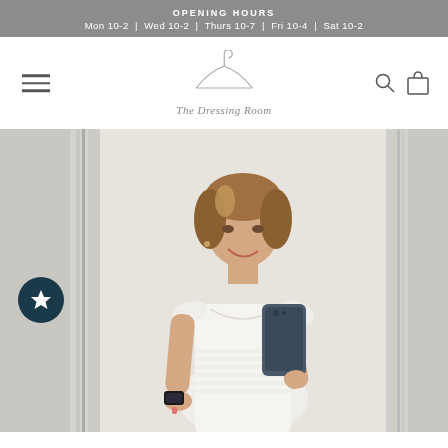OPENING HOURS
Mon 10-2 | Wed 10-2 | Thurs 10-7 | Fri 10-4 | Sat 10-2
[Figure (logo): The Dressing Room logo with clothes hanger icon and italic script text]
[Figure (photo): Woman in white lace/ruffle dress taking a mirror selfie in a dressing room, holding a dark blue smartphone]